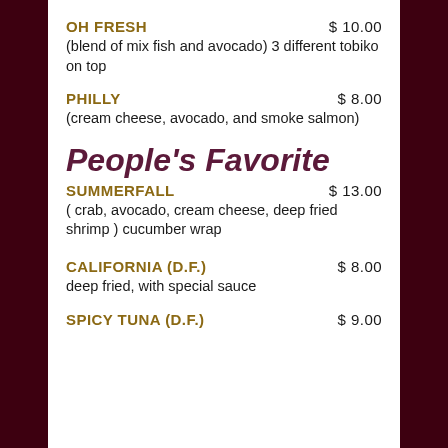OH FRESH  $ 10.00
(blend of mix fish and avocado) 3 different tobiko on top
PHILLY  $ 8.00
(cream cheese, avocado, and smoke salmon)
People's Favorite
SUMMERFALL  $ 13.00
( crab, avocado, cream cheese, deep fried shrimp ) cucumber wrap
CALIFORNIA (D.F.)  $ 8.00
deep fried, with special sauce
SPICY TUNA (D.F.)  $ 9.00